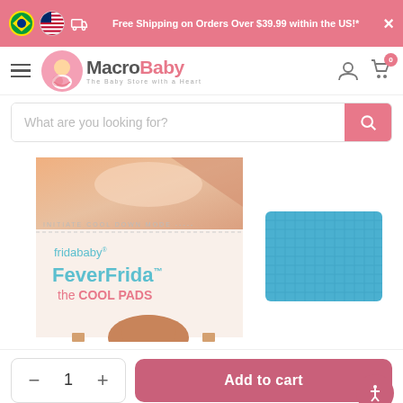Free Shipping on Orders Over $39.99 within the US!*
[Figure (logo): MacroBaby logo - The Baby Store with a Heart]
[Figure (screenshot): Search bar with placeholder text: What are you looking for?]
[Figure (photo): Fridababy FeverFrida the COOL PADS product packaging with blue cooling pad shown beside box]
Add to cart
1